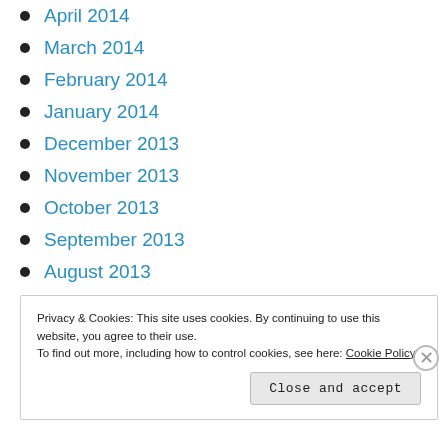April 2014
March 2014
February 2014
January 2014
December 2013
November 2013
October 2013
September 2013
August 2013
July 2013
Privacy & Cookies: This site uses cookies. By continuing to use this website, you agree to their use. To find out more, including how to control cookies, see here: Cookie Policy